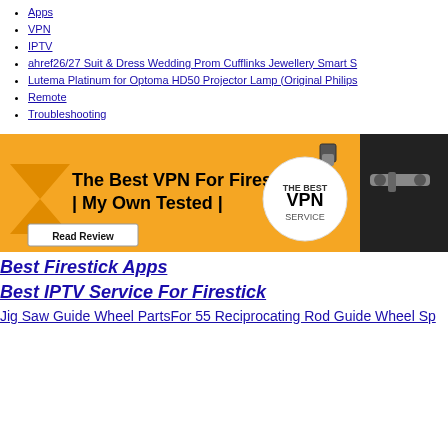Apps
VPN
IPTV
ahref26/27 Suit & Dress Wedding Prom Cufflinks Jewellery Smart S
Lutema Platinum for Optoma HD50 Projector Lamp (Original Philips
Remote
Troubleshooting
[Figure (illustration): Orange banner advertisement for 'The Best VPN For Firestick | My Own Tested |' with a 'Read Review' button and VPN service badge, showing Fire TV Stick devices]
Best Firestick Apps
Best IPTV Service For Firestick
Jig Saw Guide Wheel PartsFor 55 Reciprocating Rod Guide Wheel Sp